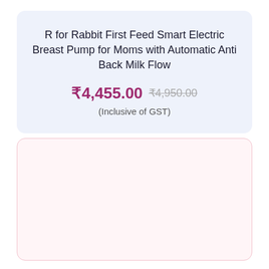R for Rabbit First Feed Smart Electric Breast Pump for Moms with Automatic Anti Back Milk Flow
₹4,455.00  ₹4,950.00
(Inclusive of GST)
[Figure (other): Empty card/panel with light pink background and pink border, no content visible]